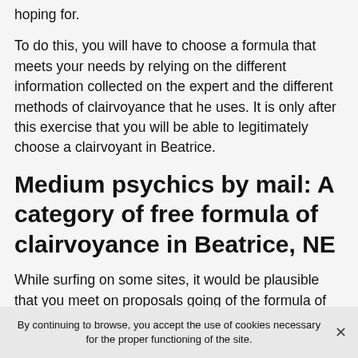hoping for.
To do this, you will have to choose a formula that meets your needs by relying on the different information collected on the expert and the different methods of clairvoyance that he uses. It is only after this exercise that you will be able to legitimately choose a clairvoyant in Beatrice.
Medium psychics by mail: A category of free formula of clairvoyance in Beatrice, NE
While surfing on some sites, it would be plausible that you meet on proposals going of the formula of free consultation by e-mail. The modus operandi of this formula is very simple. The applicant will simply have to write a written question that he or she will have to send in writing to a
By continuing to browse, you accept the use of cookies necessary for the proper functioning of the site.